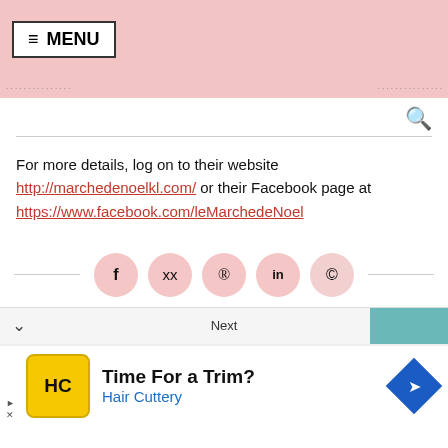≡ MENU
For more details, log on to their website http://marchedenoelkl.com/ or their Facebook page at https://www.facebook.com/leMarchedeNoel
[Figure (other): Social sharing buttons row: Facebook (f), Twitter (bird), Pinterest (p), LinkedIn (in), WhatsApp icons in pink circles]
Next
[Figure (other): Advertisement banner: Hair Cuttery - Time For a Trim?]